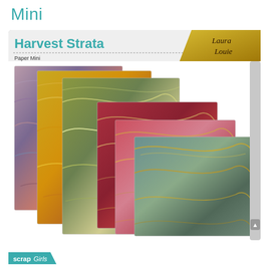Mini
[Figure (illustration): Product listing for 'Harvest Strata Paper Mini' digital scrapbooking papers by Laura Louie / ScrapGirls. Shows a product cover with the title 'Harvest Strata' in teal, 'Paper Mini' subtitle, a gold Laura Louie logo in the top right corner, and a fan/stack of 6 marbled paper swatches in harvest colors: mauve/purple/blue, golden yellow, olive green/cream, dark red/crimson, coral pink/red, and teal/sage green — all featuring swirling agate-style marble patterns with gold accent lines.]
Paper Mini
ScrapGirls